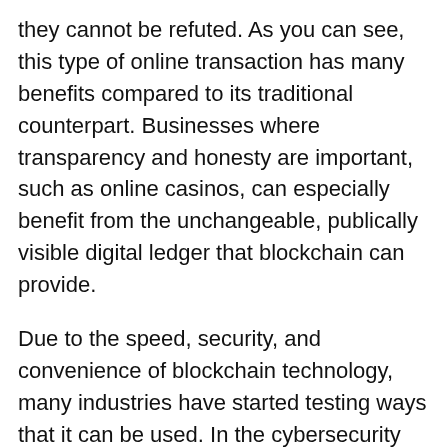they cannot be refuted. As you can see, this type of online transaction has many benefits compared to its traditional counterpart. Businesses where transparency and honesty are important, such as online casinos, can especially benefit from the unchangeable, publically visible digital ledger that blockchain can provide.
Due to the speed, security, and convenience of blockchain technology, many industries have started testing ways that it can be used. In the cybersecurity industry, for example, REMME has explored the potential of using it as a form of authentication, removing the need for passwords.
Furthermore, in supply chain management, British Airways has trialled blockchain technology to manage flight data between several big cities, including London and Miami.